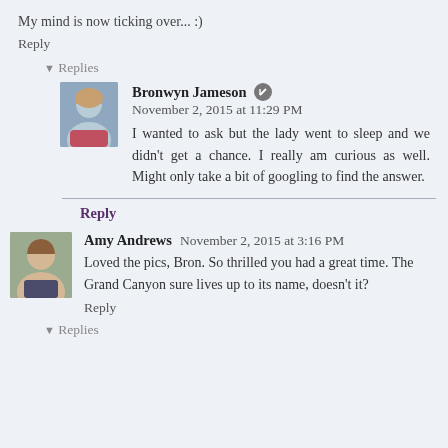My mind is now ticking over... :)
Reply
▾ Replies
Bronwyn Jameson  November 2, 2015 at 11:29 PM
I wanted to ask but the lady went to sleep and we didn't get a chance. I really am curious as well. Might only take a bit of googling to find the answer.
Reply
Amy Andrews  November 2, 2015 at 3:16 PM
Loved the pics, Bron. So thrilled you had a great time. The Grand Canyon sure lives up to its name, doesn't it?
Reply
▾ Replies